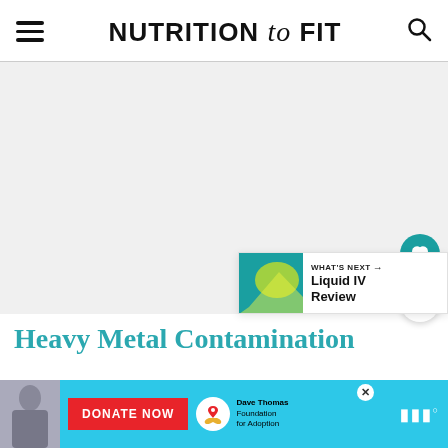NUTRITION to FIT
[Figure (screenshot): Large white/light gray image placeholder area below the site header, occupying most of the visible article space before the article title.]
[Figure (infographic): Floating teal circular heart/favorite button on the right side of the page.]
[Figure (infographic): Floating white circular share/add button on the right side of the page below the heart button.]
[Figure (infographic): What's Next panel showing Liquid IV Review with thumbnail image.]
Heavy Metal Contamination
[Figure (infographic): Advertisement banner at the bottom: light blue background with a boy photo on the left, a red DONATE NOW button, Dave Thomas Foundation for Adoption logo with text, and a brand mark on the far right. A close X button is visible.]